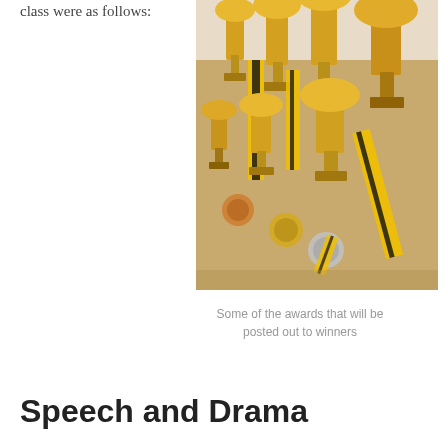class were as follows:
[Figure (photo): A collection of gold trophies and medals with black and yellow ribbons arranged on a wooden surface]
Some of the awards that will be posted out to winners
Speech and Drama